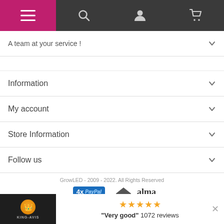Navigation bar with menu, search, account, and cart icons
A team at your service !
Information
My account
Store Information
Follow us
GrowLED - 2009 - 2022. All Rights Reserved
[Figure (logo): Payment method logos: 4x PayPal, bank transfer (Mandat), Alma, and card icons (CB, Mastercard, Visa)]
KING-AVIS · "Very good" 1072 reviews · 5-star rating